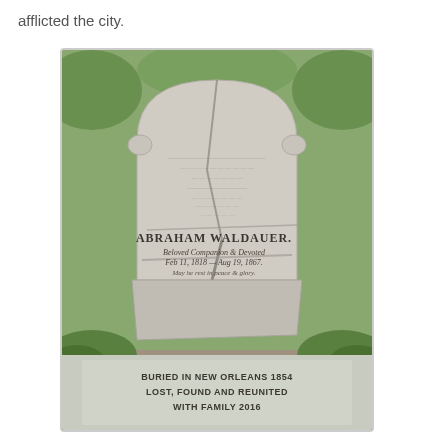afflicted the city.
[Figure (photo): Photograph of a cracked and weathered marble gravestone for Abraham Waldauer, broken into several pieces. The stone has a traditional arched top with scroll details. Partially legible inscription includes 'ABRAHAM WALDAUER', dates including 'Feb 11, 1818' and 'Aug 19, 1867', and additional script text. A lower flat slab reads 'BURIED IN NEW ORLEANS 1854 LOST, FOUND AND REUNITED WITH FAMILY 2016'.]